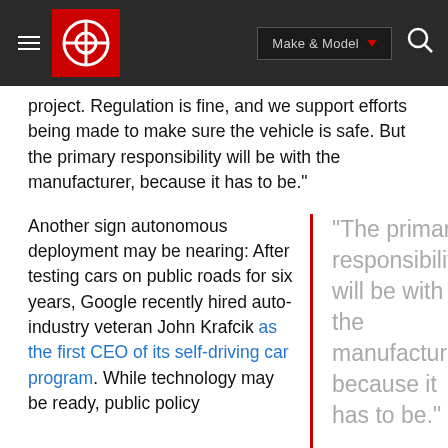Make & Model
project. Regulation is fine, and we support efforts being made to make sure the vehicle is safe. But the primary responsibility will be with the manufacturer, because it has to be."
Another sign autonomous deployment may be nearing: After testing cars on public roads for six years, Google recently hired auto-industry veteran John Krafcik as the first CEO of its self-driving car program. While technology may be ready, public policy
"The primary responsibility will be with the manufacturer, because it has to be."